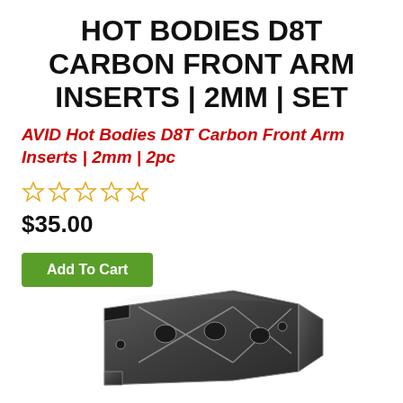HOT BODIES D8T CARBON FRONT ARM INSERTS | 2MM | SET
AVID Hot Bodies D8T Carbon Front Arm Inserts | 2mm | 2pc
☆☆☆☆☆
$35.00
Add To Cart
[Figure (photo): Carbon fiber front arm inserts for Hot Bodies D8T, rectangular dark grey carbon fiber plate with cutouts and cross-brace pattern, viewed slightly from above at an angle]